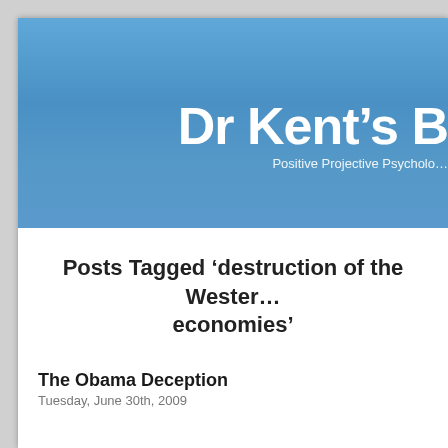Dr Kent's B — Positive Projective Psycholo...
Posts Tagged ‘destruction of the Western economies’
The Obama Deception
Tuesday, June 30th, 2009
This is a must see: